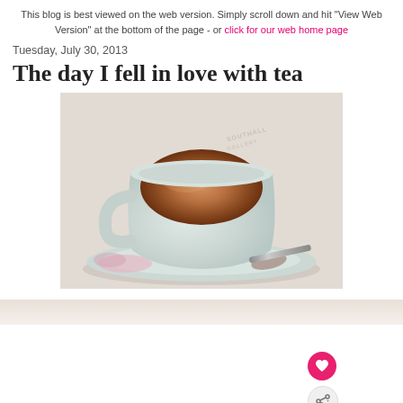This blog is best viewed on the web version. Simply scroll down and hit "View Web Version" at the bottom of the page - or click for our web home page
Tuesday, July 30, 2013
The day I fell in love with tea
[Figure (photo): A white ceramic cup of tea (milky brown tea) on a floral saucer with a spoon resting beside it on the saucer. The image has a watermark text in the upper right area.]